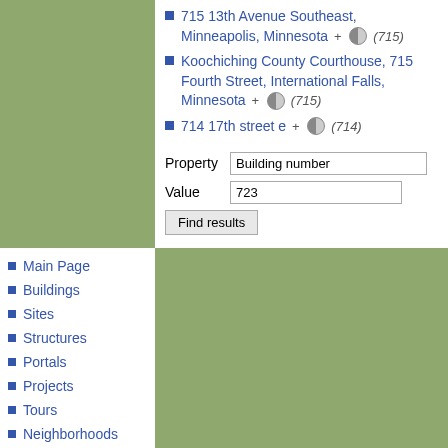715 13th Avenue Southeast, Minneapolis, Minnesota + (715)
Koochiching County Courthouse, 715 Fourth Street, International Falls, Minnesota + (715)
714 17th street e + (714)
Property  Building number
Value  723
Find results
Main Page
Buildings
Sites
Structures
Portals
Projects
Tours
Neighborhoods
Cities
States